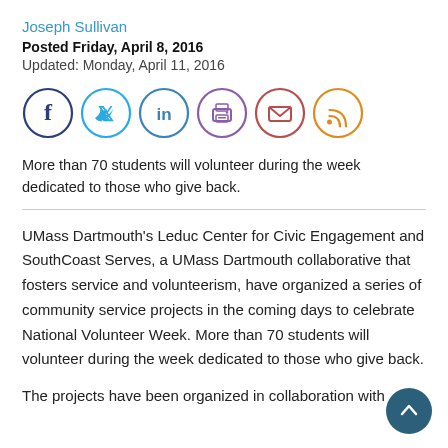Joseph Sullivan
Posted Friday, April 8, 2016
Updated: Monday, April 11, 2016
[Figure (infographic): Social media sharing icons in circles: Facebook (dark blue), Twitter (light blue), LinkedIn (blue), Print (purple), Email (red/maroon), RSS (orange)]
More than 70 students will volunteer during the week dedicated to those who give back.
UMass Dartmouth’s Leduc Center for Civic Engagement and SouthCoast Serves, a UMass Dartmouth collaborative that fosters service and volunteerism, have organized a series of community service projects in the coming days to celebrate National Volunteer Week. More than 70 students will volunteer during the week dedicated to those who give back.
The projects have been organized in collaboration with